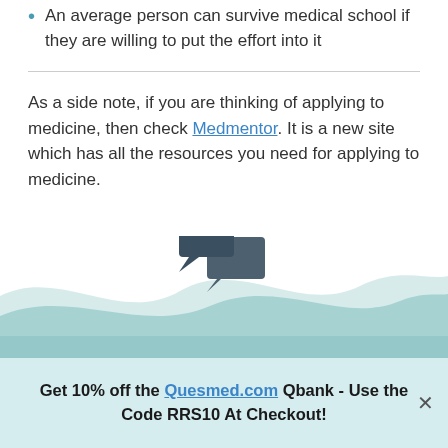An average person can survive medical school if they are willing to put the effort into it
As a side note, if you are thinking of applying to medicine, then check Medmentor. It is a new site which has all the resources you need for applying to medicine.
[Figure (illustration): Wave/curved teal background graphic with overlapping chat bubble icons in dark gray]
Get 10% off the Quesmed.com Qbank - Use the Code RRS10 At Checkout!